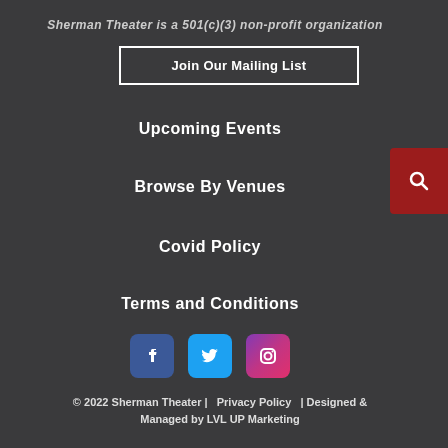Sherman Theater is a 501(c)(3) non-profit organization
Join Our Mailing List
Upcoming Events
Browse By Venues
Covid Policy
Terms and Conditions
[Figure (illustration): Social media icons: Facebook (blue), Twitter (light blue), Instagram (purple gradient)]
© 2022 Sherman Theater |   Privacy Policy   | Designed & Managed by LVL UP Marketing